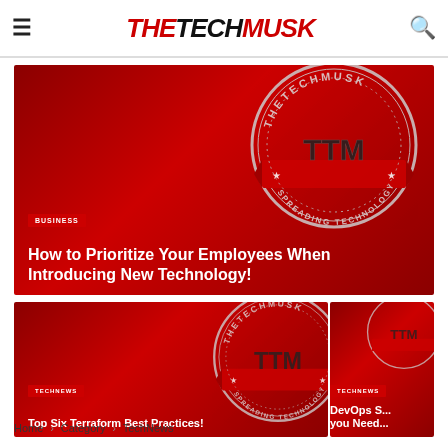THE TECH MUSK
[Figure (photo): Red article card with TheTechMusk logo watermark, BUSINESS badge, title: How to Prioritize Your Employees When Introducing New Technology!]
How to Prioritize Your Employees When Introducing New Technology!
[Figure (photo): Red article card with TheTechMusk logo watermark, TECHNEWS badge, title: Top Six Terraform Best Practices!]
Top Six Terraform Best Practices!
[Figure (photo): Red article card with TheTechMusk logo watermark partially visible, TECHNEWS badge, title: DevOps S... you Need...]
DevOps S... you Need...
Home › Category › TechNews